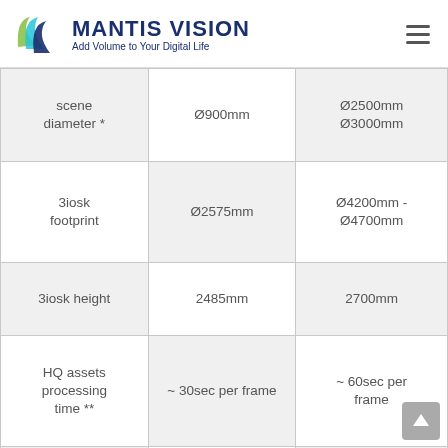MANTIS VISION — Add Volume to Your Digital Life
|  |  |  |
| --- | --- | --- |
| scene diameter * | Ø900mm | Ø2500mm Ø3000mm |
| 3iosk footprint | Ø2575mm | Ø4200mm - Ø4700mm |
| 3iosk height | 2485mm | 2700mm |
| HQ assets processing time ** | ~ 30sec per frame | ~ 60sec per frame |
| Real-Time Live preview | Yes | Yes |